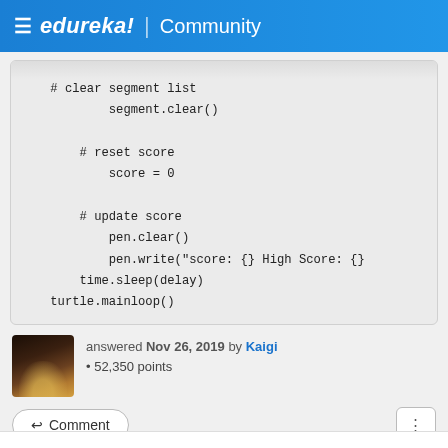edureka! | Community
# clear segment list
        segment.clear()

    # reset score
        score = 0

    # update score
        pen.clear()
        pen.write("score: {} High Score: {}
    time.sleep(delay)
turtle.mainloop()
answered Nov 26, 2019 by Kaigi • 52,350 points
Comment